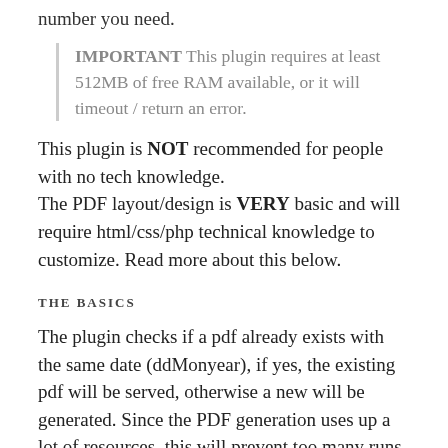number you need.
IMPORTANT This plugin requires at least 512MB of free RAM available, or it will timeout / return an error.
This plugin is NOT recommended for people with no tech knowledge.
The PDF layout/design is VERY basic and will require html/css/php technical knowledge to customize. Read more about this below.
THE BASICS
The plugin checks if a pdf already exists with the same date (ddMonyear), if yes, the existing pdf will be served, otherwise a new will be generated. Since the PDF generation uses up a lot of resources, this will prevent too many runs of the plugin and the crashing of your server.